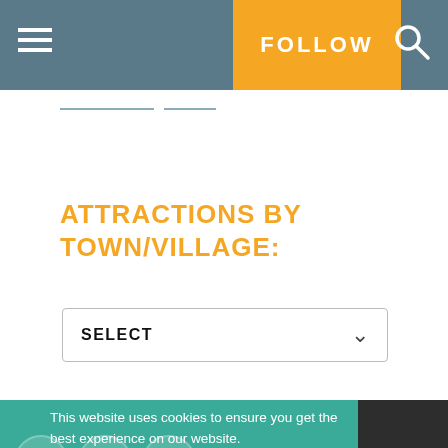≡   FOLLOW   🔍
ATTRACTIONS BY TOWN/VILLAGE:
SELECT
This website uses cookies to ensure you get the best experience on our website. Learn more
About Us | Join us | Stories | Privacy Policy & Cookies | Sitemap | Contact Us | Partners
Got it!